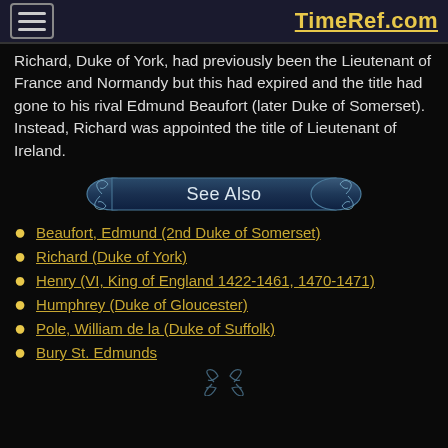TimeRef.com
Richard, Duke of York, had previously been the Lieutenant of France and Normandy but this had expired and the title had gone to his rival Edmund Beaufort (later Duke of Somerset). Instead, Richard was appointed the title of Lieutenant of Ireland.
See Also
Beaufort, Edmund (2nd Duke of Somerset)
Richard (Duke of York)
Henry (VI, King of England 1422-1461, 1470-1471)
Humphrey (Duke of Gloucester)
Pole, William de la (Duke of Suffolk)
Bury St. Edmunds